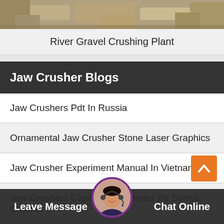[Figure (photo): Partial photo of river gravel at the top of the page]
River Gravel Crushing Plant
Jaw Crusher Blogs
Jaw Crushers Pdt In Russia
Ornamental Jaw Crusher Stone Laser Graphics
Jaw Crusher Experiment Manual In Vietnam
Jaw Crushers Capacity Parameter Pe Series Crusher ...
Jaw Crusher Electric Po... Powder
[Figure (photo): Customer service avatar with headset in circular frame]
Leave Message
Chat Online